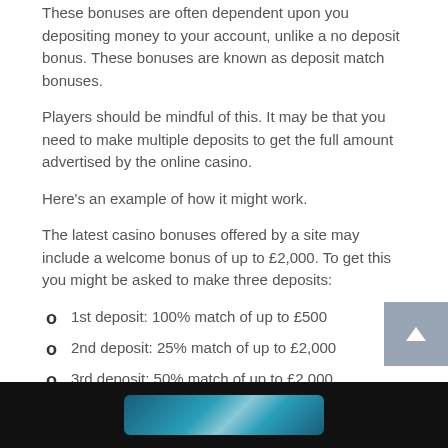These bonuses are often dependent upon you depositing money to your account, unlike a no deposit bonus. These bonuses are known as deposit match bonuses.
Players should be mindful of this. It may be that you need to make multiple deposits to get the full amount advertised by the online casino.
Here's an example of how it might work.
The latest casino bonuses offered by a site may include a welcome bonus of up to £2,000. To get this you might be asked to make three deposits:
1st deposit: 100% match of up to £500
2nd deposit: 25% match of up to £2,000
3rd deposit: 50% match of up to £2,000
So you'd need to invest £4,500 of your own money to get the welcome bonus of £2,000.
[Figure (photo): Dark background image with a glowing blue/cyan object, likely casino-related imagery]